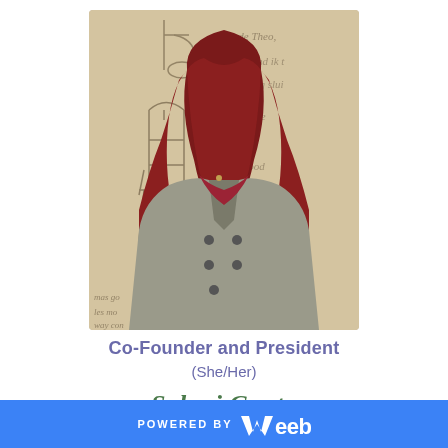[Figure (photo): Portrait photo of a young woman wearing a dark red/maroon hijab and a grey double-breasted blazer/coat. She is smiling. The background features hand-drawn sketch illustrations of furniture and handwritten cursive text (letters), creating a vintage/artistic atmosphere.]
Co-Founder and President
(She/Her)
Saloni Gupta
POWERED BY weebly